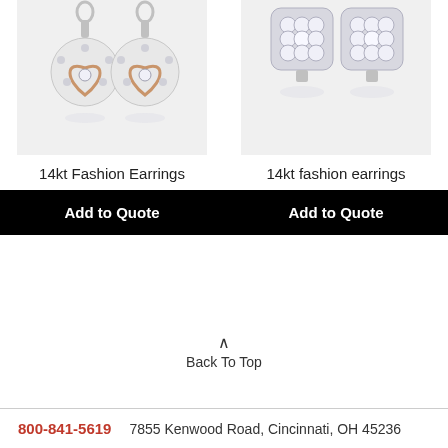[Figure (photo): Two dangling 14kt white and rose gold heart-shaped diamond earrings shown from above]
[Figure (photo): Two 14kt white gold square cluster diamond stud earrings shown from above]
14kt Fashion Earrings
14kt fashion earrings
Add to Quote
Add to Quote
Back To Top
800-841-5619    7855 Kenwood Road, Cincinnati, OH 45236